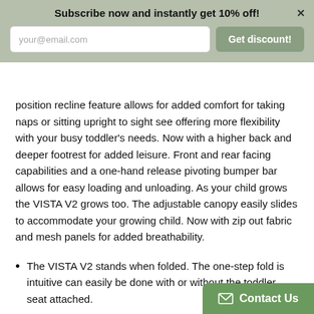Subscribe now and instantly get 10% off!
position recline feature allows for added comfort for taking naps or sitting upright to sight see offering more flexibility with your busy toddler's needs. Now with a higher back and deeper footrest for added leisure. Front and rear facing capabilities and a one-hand release pivoting bumper bar allows for easy loading and unloading. As your child grows the VISTA V2 grows too. The adjustable canopy easily slides to accommodate your growing child. Now with zip out fabric and mesh panels for added breathability.
The VISTA V2 stands when folded. The one-step fold is intuitive can easily be done with or without the toddler seat attached.
Sibling compatible with the purchase of a RumbleSeat, MESA infant car seat or PiggyBack sibling board. If you're blessed with twins the VISTA can seamle…